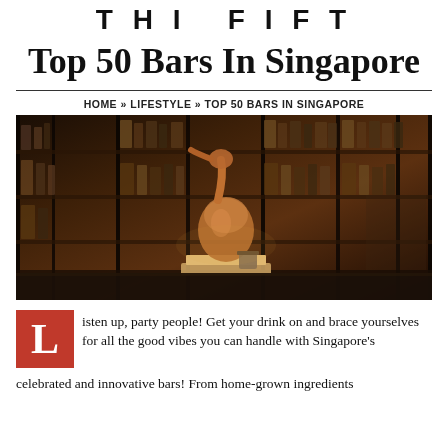T H I F I F T
Top 50 Bars In Singapore
HOME » LIFESTYLE » TOP 50 BARS IN SINGAPORE
[Figure (photo): Interior of a bar showing shelves lined with whiskey and spirit bottles, with a copper distillation still in the center on a dark marble counter.]
Listen up, party people! Get your drink on and brace yourselves for all the good vibes you can handle with Singapore's celebrated and innovative bars! From home-grown ingredients